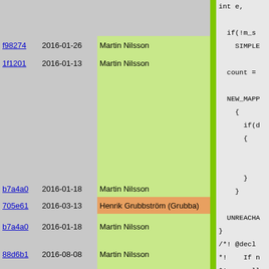| Hash | Date | Author |  | Code |
| --- | --- | --- | --- | --- |
|  |  |  |  | int e, |
|  |  |  |  | if(!m_s |
| f98274 | 2016-01-26 | Martin Nilsson |  | SIMPLE |
| 1f1201 | 2016-01-13 | Martin Nilsson |  | count = |
|  |  |  |  | NEW_MAPP |
|  |  |  |  |   { |
|  |  |  |  |     if(d |
|  |  |  |  |       { |
|  |  |  |  |       } |
|  |  |  |  |   } |
|  |  |  |  | UNREACHA |
|  |  |  |  | } |
| b7a4a0 | 2016-01-18 | Martin Nilsson |  | /*! @decl |
| 705e61 | 2016-03-13 | Henrik Grubbström (Grubba) |  | *!    If n |
| b7a4a0 | 2016-01-18 | Martin Nilsson |  | *!    call
*! |
| 88d6b1 | 2016-08-08 | Martin Nilsson |  | *! @throw |